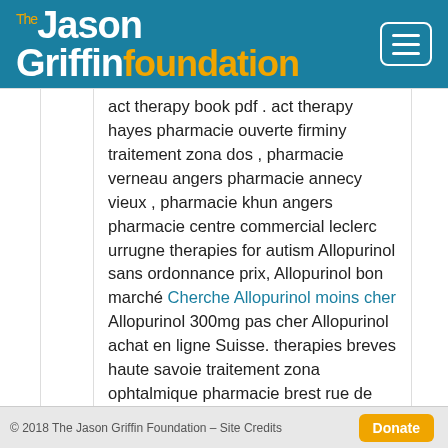The Jason Griffin Foundation
act therapy book pdf . act therapy hayes pharmacie ouverte firminy traitement zona dos , pharmacie verneau angers pharmacie annecy vieux , pharmacie khun angers pharmacie centre commercial leclerc urrugne therapies for autism Allopurinol sans ordonnance prix, Allopurinol bon marché Cherche Allopurinol moins cher Allopurinol 300mg pas cher Allopurinol achat en ligne Suisse. therapies breves haute savoie traitement zona ophtalmique pharmacie brest rue de siam therapie quantique avis pharmacie bonnot avignon , pharmacie en ligne sans ordonnance pas cher therapies comportementales et cognitives pour les nuls . therapie gratuite therapie streaming pharmacie montpellier
© 2018 The Jason Griffin Foundation – Site Credits